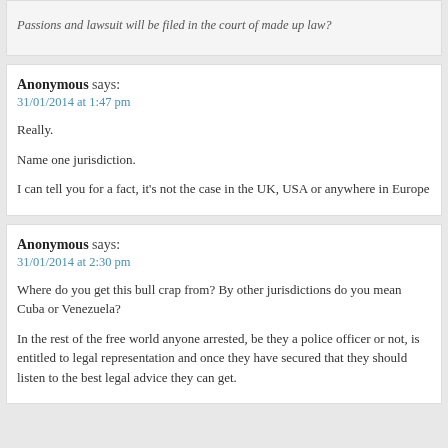Passions and lawsuit will be filed in the court of made up law?
Anonymous says:
31/01/2014 at 1:47 pm
Really.
Name one jurisdiction.
I can tell you for a fact, it's not the case in the UK, USA or anywhere in Europe
Anonymous says:
31/01/2014 at 2:30 pm
Where do you get this bull crap from? By other jurisdictions do you mean Cuba or Venezuela?
In the rest of the free world anyone arrested, be they a police officer or not, is entitled to legal representation and once they have secured that they should listen to the best legal advice they can get.